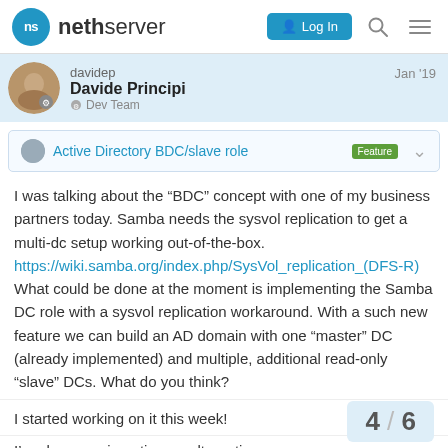nethserver — Log In
davidep Davide Principi Dev Team Jan '19
Active Directory BDC/slave role Feature
I was talking about the “BDC” concept with one of my business partners today. Samba needs the sysvol replication to get a multi-dc setup working out-of-the-box. https://wiki.samba.org/index.php/SysVol_replication_(DFS-R) What could be done at the moment is implementing the Samba DC role with a sysvol replication workaround. With a such new feature we can build an AD domain with one “master” DC (already implemented) and multiple, additional read-only “slave” DCs. What do you think?
I started working on it this week!
I'm also experimenting an alternative appr…
4 / 6